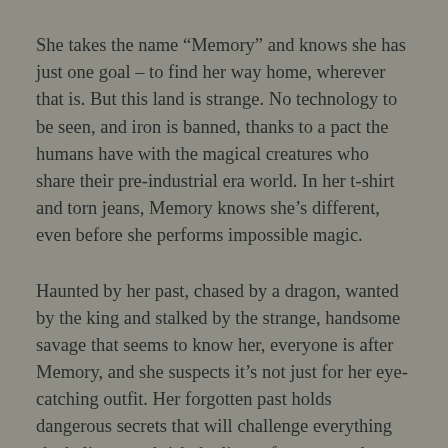She takes the name “Memory” and knows she has just one goal – to find her way home, wherever that is. But this land is strange. No technology to be seen, and iron is banned, thanks to a pact the humans have with the magical creatures who share their pre-industrial era world. In her t-shirt and torn jeans, Memory knows she’s different, even before she performs impossible magic.
Haunted by her past, chased by a dragon, wanted by the king and stalked by the strange, handsome savage that seems to know her, everyone is after Memory, and she suspects it’s not just for her eye-catching outfit. Her forgotten past holds dangerous secrets that will challenge everything she believes and risk the lives of everyone she loves.